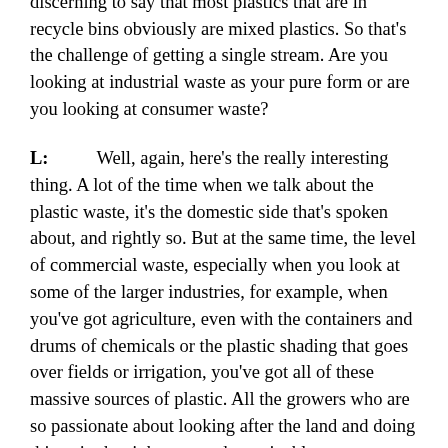terms of how you'll create your own pellets. It's also discerning to say that most plastics that are in recycle bins obviously are mixed plastics. So that's the challenge of getting a single stream. Are you looking at industrial waste as your pure form or are you looking at consumer waste?
L: Well, again, here's the really interesting thing. A lot of the time when we talk about the plastic waste, it's the domestic side that's spoken about, and rightly so. But at the same time, the level of commercial waste, especially when you look at some of the larger industries, for example, when you've got agriculture, even with the containers and drums of chemicals or the plastic shading that goes over fields or irrigation, you've got all of these massive sources of plastic. All the growers who are so passionate about looking after the land and doing things in the right way and sustainably.
L So, if it's in a specific type of plastic, you can actually